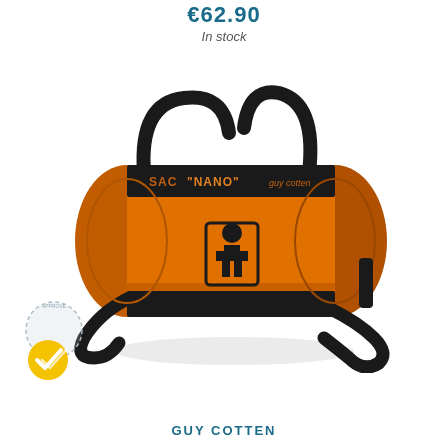€62.90
In stock
[Figure (photo): Orange cylindrical duffel bag labeled 'SAC NANO' by Guy Cotten, with black handles and a black logo on the front, shown on a white background. A certification badge (checkmark in yellow circle) is visible in the lower left.]
GUY COTTEN